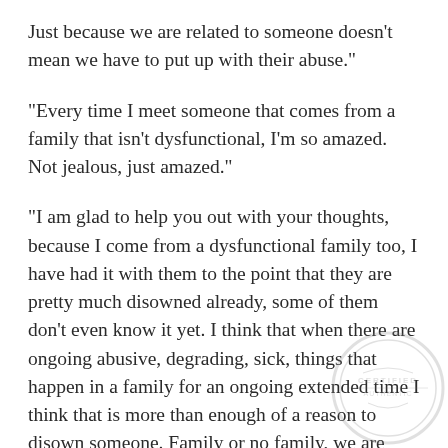Just because we are related to someone doesn't mean we have to put up with their abuse."
"Every time I meet someone that comes from a family that isn't dysfunctional, I'm so amazed. Not jealous, just amazed."
"I am glad to help you out with your thoughts, because I come from a dysfunctional family too, I have had it with them to the point that they are pretty much disowned already, some of them don't even know it yet. I think that when there are ongoing abusive, degrading, sick, things that happen in a family for an ongoing extended time I think that is more than enough of a reason to disown someone. Family or no family, we are only human and can only handle so much pain, sometimes the resentments are way too great. In my opinion